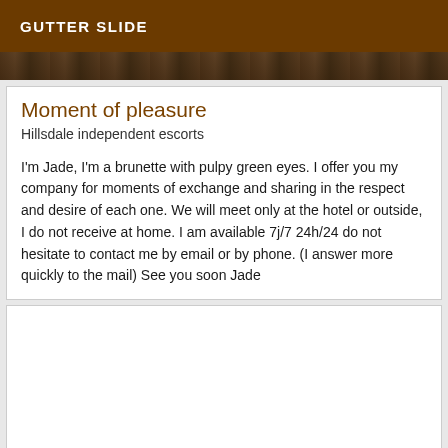GUTTER SLIDE
[Figure (photo): Partial photo strip showing a person, dark/brown tones]
Moment of pleasure
Hillsdale independent escorts
I'm Jade, I'm a brunette with pulpy green eyes. I offer you my company for moments of exchange and sharing in the respect and desire of each one. We will meet only at the hotel or outside, I do not receive at home. I am available 7j/7 24h/24 do not hesitate to contact me by email or by phone. (I answer more quickly to the mail) See you soon Jade